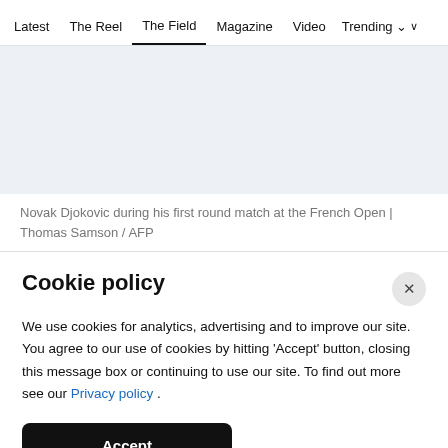Latest  The Reel  The Field  Magazine  Video  Trending
[Figure (photo): Light blue-grey empty image area representing a photo placeholder]
Novak Djokovic during his first round match at the French Open | Thomas Samson / AFP
Cookie policy
We use cookies for analytics, advertising and to improve our site. You agree to our use of cookies by hitting 'Accept' button, closing this message box or continuing to use our site. To find out more see our Privacy policy .
Accept